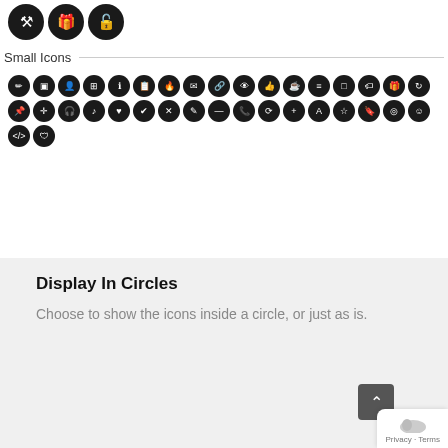[Figure (illustration): Row of large dark circular icon buttons (partial, cropped at top): hammer/auction, gift, unlock/padlock icons visible]
Small Icons
[Figure (illustration): Two rows of small dark circular icon buttons showing various symbols: pencil, document, person, table, info, clipboard, flame, email, link, eye, thumbsup, coffee, list, square, tag, gift, refresh, pin, move, headphone, music, heart, checkmark, x, edit, minus, phone, sync, plus, text A, star, bookmark, target, smiley, code, shield]
Display In Circles
Choose to show the icons inside a circle, or just as is.